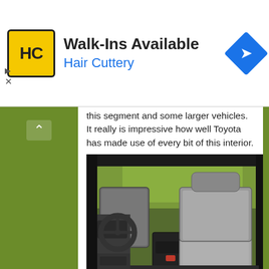[Figure (screenshot): Hair Cuttery advertisement banner with logo, 'Walk-Ins Available' heading, blue subtitle 'Hair Cuttery', and a blue navigation diamond icon]
this segment and some larger vehicles. It really is impressive how well Toyota has made use of every bit of this interior.
[Figure (photo): Interior photo of a Toyota 4Runner showing gray leather front seats, center console, steering wheel on the left, and a green landscape visible through the rear window]
In terms of infotainment, the 2014 Toyota 4Runner wont blow your mind, but it also